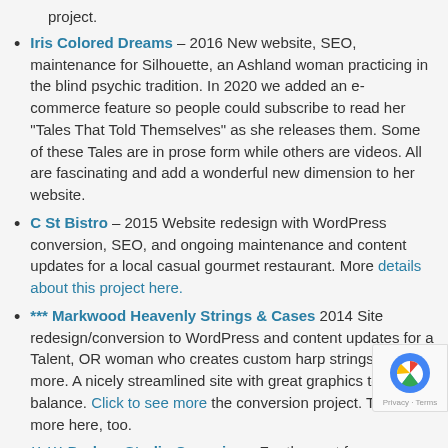project.
Iris Colored Dreams – 2016 New website, SEO, maintenance for Silhouette, an Ashland woman practicing in the blind psychic tradition. In 2020 we added an e-commerce feature so people could subscribe to read her “Tales That Told Themselves” as she releases them. Some of these Tales are in prose form while others are videos. All are fascinating and add a wonderful new dimension to her website.
C St Bistro – 2015 Website redesign with WordPress conversion, SEO, and ongoing maintenance and content updates for a local casual gourmet restaurant. More details about this project here.
*** Markwood Heavenly Strings & Cases 2014 Site redesign/conversion to WordPress and content updates for a Talent, OR woman who creates custom harp strings and more. A nicely streamlined site with great graphics to text balance. Click to see more the conversion project. There is more here, too.
** *** Dodero Studio Ceramics – For the past few